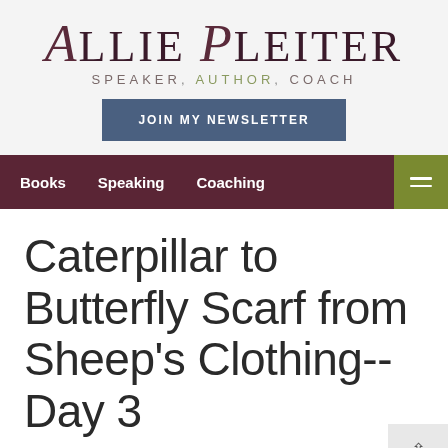ALLIE PLEITER SPEAKER. AUTHOR. COACH
[Figure (other): JOIN MY NEWSLETTER button]
Books  Speaking  Coaching
Caterpillar to Butterfly Scarf from Sheep's Clothing--Day 3
December 8, 2016  0 Comments